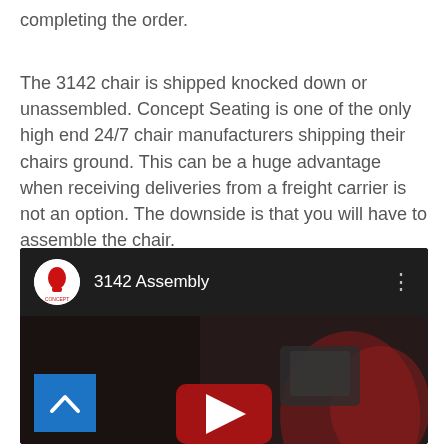completing the order.
The 3142 chair is shipped knocked down or unassembled. Concept Seating is one of the only high end 24/7 chair manufacturers shipping their chairs ground. This can be a huge advantage when receiving deliveries from a freight carrier is not an option. The downside is that you will have to assemble the chair.
[Figure (screenshot): YouTube video thumbnail showing '3142 Assembly' with Concept Seating channel icon, a dark background image of chair parts, and a red YouTube play button in the center. A blue back-to-top button with an upward chevron arrow is visible in the lower left.]